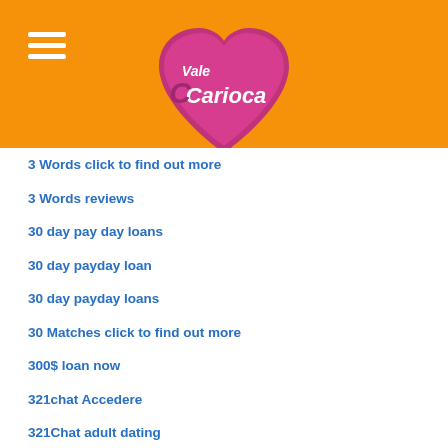[Figure (logo): Vale Carioca logo: pink/magenta heart shape with white cursive text reading 'Vale Carioca' on an orange background]
3 Words click to find out more
3 Words reviews
30 day pay day loans
30 day payday loan
30 day payday loans
30 Matches click to find out more
300$ loan now
321chat Accedere
321Chat adult dating
321chat avis
321chat connexion
321chat dating
321Chat dating site
321chat inscription